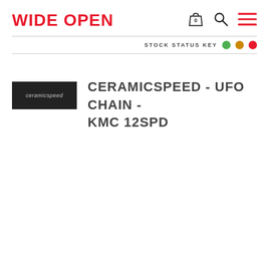WIDE OPEN
STOCK STATUS KEY
[Figure (logo): CeramicSpeed brand logo — white italic text on dark background rectangle]
CERAMICSPEED - UFO CHAIN - KMC 12SPD